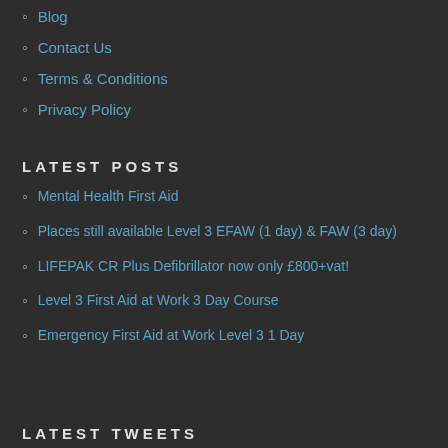Blog
Contact Us
Terms & Conditions
Privacy Policy
LATEST POSTS
Mental Health First Aid
Places still available Level 3 EFAW (1 day) & FAW (3 day)
LIFEPAK CR Plus Defibrillator now only £800+vat!
Level 3 First Aid at Work 3 Day Course
Emergency First Aid at Work Level 3 1 Day
LATEST TWEETS